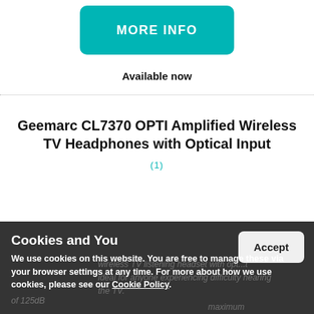[Figure (other): Teal/cyan rounded rectangle button labeled MORE INFO]
Available now
Geemarc CL7370 OPTI Amplified Wireless TV Headphones with Optical Input
(1)
Cookies and You
We use cookies on this website. You are free to manage these via your browser settings at any time. For more about how we use cookies, please see our Cookie Policy.
Accept
Wireless TV listening headset with opt...
Ideal for anyone experiencing difficulty hearing the TV.
of 125dB